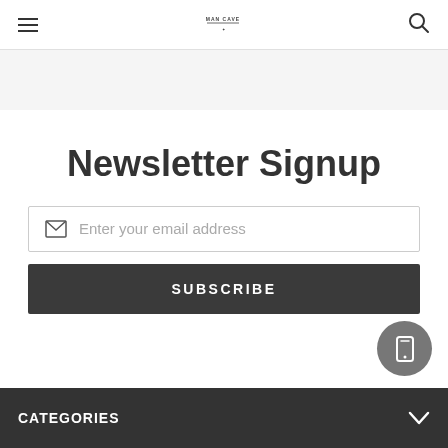MAN CAVE (logo) — hamburger menu and search icon
Newsletter Signup
Enter your email address
SUBSCRIBE
CATEGORIES